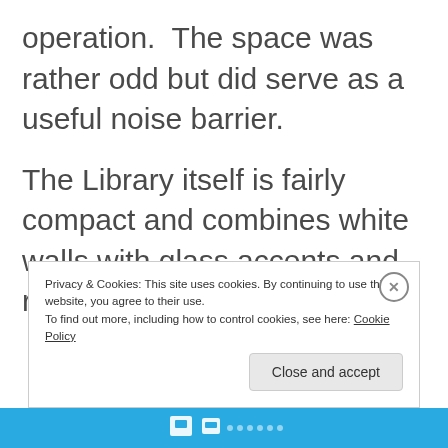operation.  The space was rather odd but did serve as a useful noise barrier.
The Library itself is fairly compact and combines white walls with glass accents and red furniture for a bit of colour.
Privacy & Cookies: This site uses cookies. By continuing to use this website, you agree to their use.
To find out more, including how to control cookies, see here: Cookie Policy
Close and accept